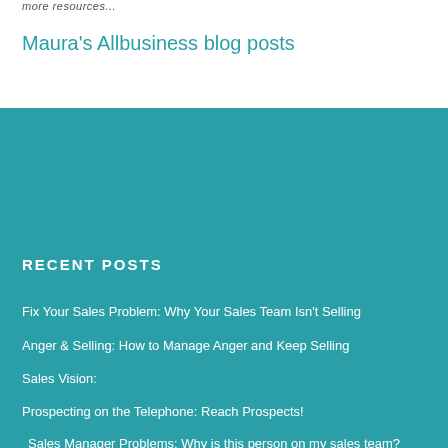more resources...
Maura's Allbusiness blog posts
RECENT POSTS
Fix Your Sales Problem: Why Your Sales Team Isn't Selling
Anger & Selling: How to Manage Anger and Keep Selling
Sales Vision:
Prospecting on the Telephone: Reach Prospects!
Sales Manager Problems: Why is this person on my sales team?
SEARCH